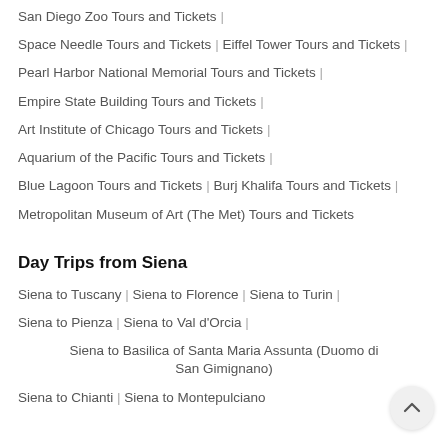San Diego Zoo Tours and Tickets |
Space Needle Tours and Tickets | Eiffel Tower Tours and Tickets |
Pearl Harbor National Memorial Tours and Tickets |
Empire State Building Tours and Tickets |
Art Institute of Chicago Tours and Tickets |
Aquarium of the Pacific Tours and Tickets |
Blue Lagoon Tours and Tickets | Burj Khalifa Tours and Tickets |
Metropolitan Museum of Art (The Met) Tours and Tickets
Day Trips from Siena
Siena to Tuscany | Siena to Florence | Siena to Turin |
Siena to Pienza | Siena to Val d'Orcia |
Siena to Basilica of Santa Maria Assunta (Duomo di San Gimignano)
Siena to Chianti | Siena to Montepulciano